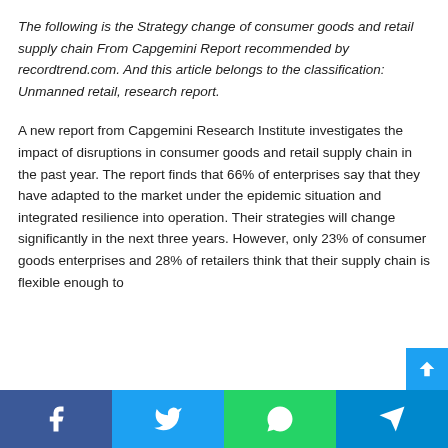The following is the Strategy change of consumer goods and retail supply chain From Capgemini Report recommended by recordtrend.com. And this article belongs to the classification: Unmanned retail, research report.
A new report from Capgemini Research Institute investigates the impact of disruptions in consumer goods and retail supply chain in the past year. The report finds that 66% of enterprises say that they have adapted to the market under the epidemic situation and integrated resilience into operation. Their strategies will change significantly in the next three years. However, only 23% of consumer goods enterprises and 28% of retailers think that their supply chain is flexible enough to